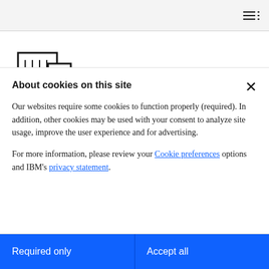Navigation menu icon
[Figure (illustration): Line drawing of a city building / office tower icon]
Scalable for environment of any size
Smart, self-optimizing solution is easily managed,
About cookies on this site
Our websites require some cookies to function properly (required). In addition, other cookies may be used with your consent to analyze site usage, improve the user experience and for advertising.

For more information, please review your Cookie preferences options and IBM’s privacy statement.